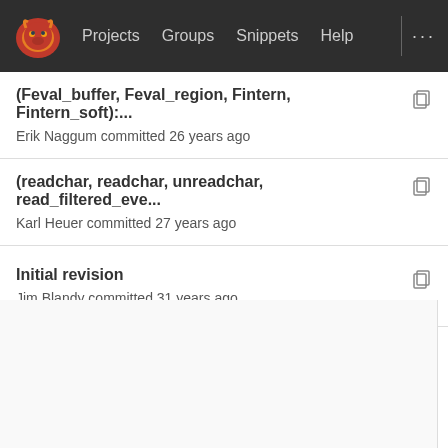Projects  Groups  Snippets  Help  ...
(Feval_buffer, Feval_region, Fintern, Fintern_soft):...
Erik Naggum committed 26 years ago
(readchar, readchar, unreadchar, read_filtered_eve...
Karl Heuer committed 27 years ago
Initial revision
Jim Blandy committed 31 years ago